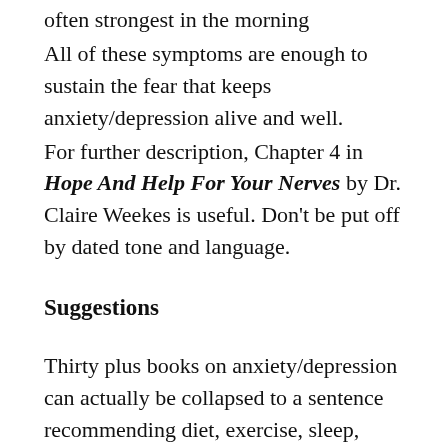often strongest in the morning
All of these symptoms are enough to sustain the fear that keeps anxiety/depression alive and well.
For further description, Chapter 4 in Hope And Help For Your Nerves by Dr. Claire Weekes is useful. Don't be put off by dated tone and language.
Suggestions
Thirty plus books on anxiety/depression can actually be collapsed to a sentence recommending diet, exercise, sleep, therapies and meditation– read mindfulness meditation in a wide variety of forms here.  Lost Connections